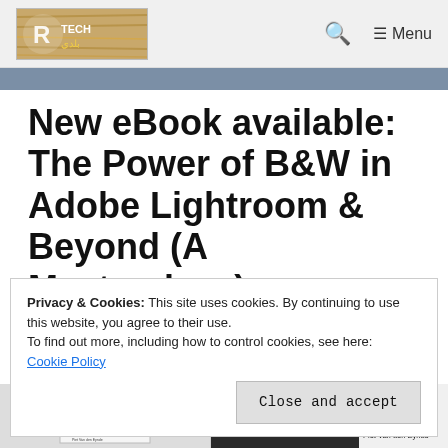[Figure (screenshot): Website header with logo on left and search/menu icons on right]
New eBook available: The Power of B&W in Adobe Lightroom & Beyond (A Masterclass)
April 12, 2011 by Klaus
Privacy & Cookies: This site uses cookies. By continuing to use this website, you agree to their use.
To find out more, including how to control cookies, see here:
Cookie Policy
Close and accept
[Figure (photo): Book thumbnails at bottom: left shows B&W photography book cover, right shows dark cover with MASTERCLASS label and author Piet Van den Eynde]